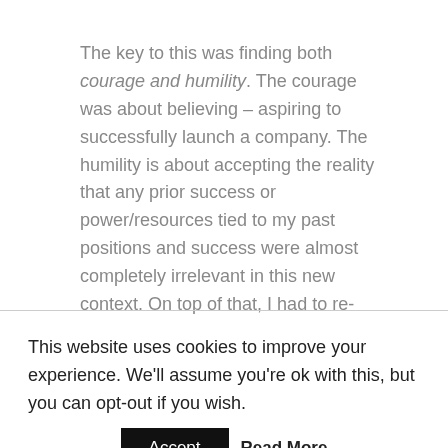The key to this was finding both courage and humility. The courage was about believing – aspiring to successfully launch a company. The humility is about accepting the reality that any prior success or power/resources tied to my past positions and success were almost completely irrelevant in this new context. On top of that, I had to re-create all my mental models about risk, leadership, capital deployment, etc.
This website uses cookies to improve your experience. We'll assume you're ok with this, but you can opt-out if you wish.
Accept   Read More